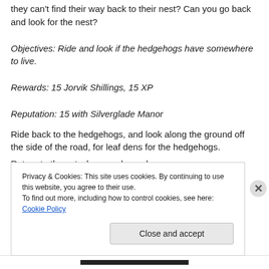they can't find their way back to their nest? Can you go back and look for the nest?
Objectives: Ride and look if the hedgehogs have somewhere to live.
Rewards: 15 Jorvik Shillings, 15 XP
Reputation: 15 with Silverglade Manor
Ride back to the hedgehogs, and look along the ground off the side of the road, for leaf dens for the hedgehogs.
Return to the vet when you have done so.
Privacy & Cookies: This site uses cookies. By continuing to use this website, you agree to their use.
To find out more, including how to control cookies, see here: Cookie Policy
Close and accept